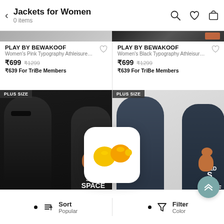Jackets for Women — 0 items
PLAY BY BEWAKOOF
Women's Pink Typography Athleisure Hoodie
₹699  ₹1299
₹639 For TriBe Members
PLAY BY BEWAKOOF
Women's Black Typography Athleisure Hood..
₹699  ₹1299
₹639 For TriBe Members
[Figure (photo): PLUS SIZE badge. Two women modeling black hoodies with 'I NEED SOME SPACE' graphic design featuring a teddy bear.]
[Figure (logo): App icon overlay — two yellow/orange circles on white rounded-rectangle background (Bewakoof app icon).]
[Figure (photo): PLUS SIZE badge. Two women modeling navy blue hoodies with 'I NEED SOME SPACE' graphic design featuring a teddy bear.]
Sort  Popular    Filter  Color